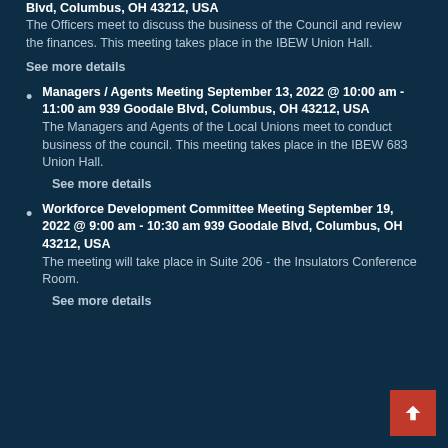Blvd, Columbus, OH 43212, USA
The Officers meet to discuss the business of the Council and review the finances. This meeting takes place in the IBEW Union Hall.
See more details
Managers / Agents Meeting September 13, 2022 @ 10:00 am - 11:00 am 939 Goodale Blvd, Columbus, OH 43212, USA
The Managers and Agents of the Local Unions meet to conduct business of the council. This meeting takes place in the IBEW 683 Union Hall.
See more details
Workforce Development Committee Meeting September 19, 2022 @ 9:00 am - 10:30 am 939 Goodale Blvd, Columbus, OH 43212, USA
The meeting will take place in Suite 206 - the Insulators Conference Room.
See more details